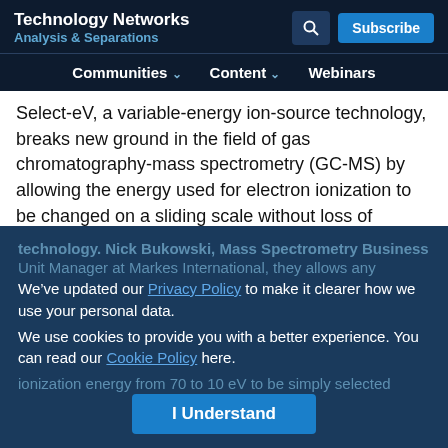Technology Networks | Analysis & Separations
Communities | Content | Webinars
Select-eV, a variable-energy ion-source technology, breaks new ground in the field of gas chromatography-mass spectrometry (GC-MS) by allowing the energy used for electron ionization to be changed on a sliding scale without loss of sensitivity.
This allows the production of both ‘classical’ mass spectra, and repeatable ‘soft-ionization’ spectra with reduced fragmentation and an enhanced molecular ion.
We’ve updated our Privacy Policy to make it clearer how we use your personal data.
We use cookies to provide you with a better experience. You can read our Cookie Policy here.
I Understand